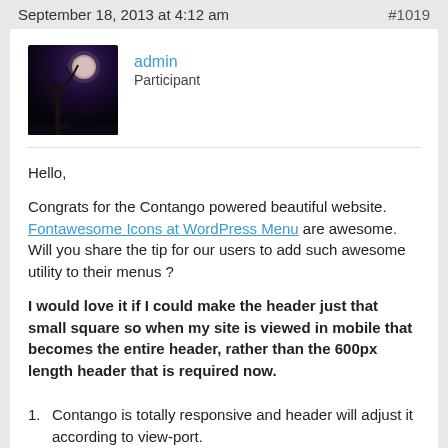September 18, 2013 at 4:12 am    #1019
[Figure (photo): User avatar: dark atmospheric photo of a bare tree silhouette against a moon/sky background]
admin
Participant
Hello,

Congrats for the Contango powered beautiful website. Fontawesome Icons at WordPress Menu are awesome. Will you share the tip for our users to add such awesome utility to their menus ?

I would love it if I could make the header just that small square so when my site is viewed in mobile that becomes the entire header, rather than the 600px length header that is required now.
Contango is totally responsive and header will adjust it according to view-port.
Why not to use Logo option instead of header.
You may also upload header of any size